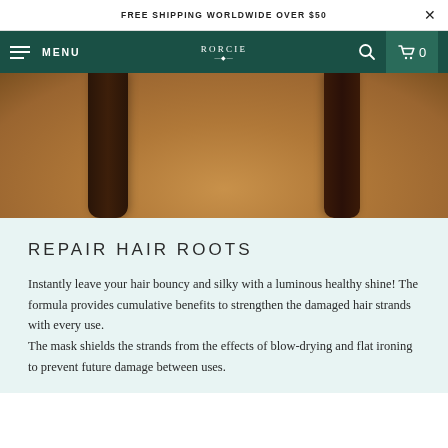FREE SHIPPING WORLDWIDE OVER $50
MENU | RORCIE | 0
[Figure (photo): Close-up photo of two dark brown hair strands against a blurred sandy/earthy background]
REPAIR HAIR ROOTS
Instantly leave your hair bouncy and silky with a luminous healthy shine! The formula provides cumulative benefits to strengthen the damaged hair strands with every use. The mask shields the strands from the effects of blow-drying and flat ironing to prevent future damage between uses.